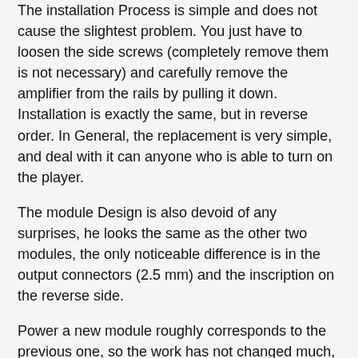The installation Process is simple and does not cause the slightest problem. You just have to loosen the side screws (completely remove them is not necessary) and carefully remove the amplifier from the rails by pulling it down. Installation is exactly the same, but in reverse order. In General, the replacement is very simple, and deal with it can anyone who is able to turn on the player.
The module Design is also devoid of any surprises, he looks the same as the other two modules, the only noticeable difference is in the output connectors (2.5 mm) and the inscription on the reverse side.
Power a new module roughly corresponds to the previous one, so the work has not changed much, with the latest firmware from Lurker-and MEEAudio P1 in the role of load player played «Red Book» FLAC with a comfortable volume for me 7 hours and 15 minutes. The figure is not a record, but this iron is very good.
the
Sound
In General, I don't want to pull the affair, iBasso DX200 with this